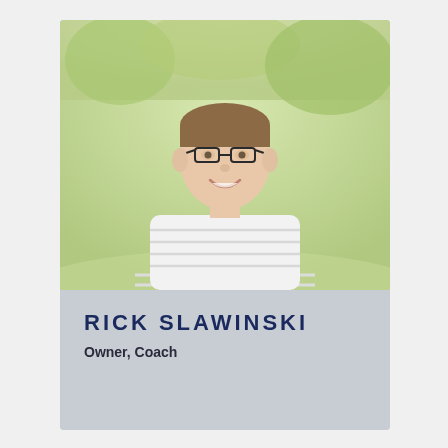[Figure (photo): Headshot of a smiling man with glasses and short brown hair, wearing a white striped t-shirt, outdoors with a green blurred background]
RICK SLAWINSKI
Owner, Coach